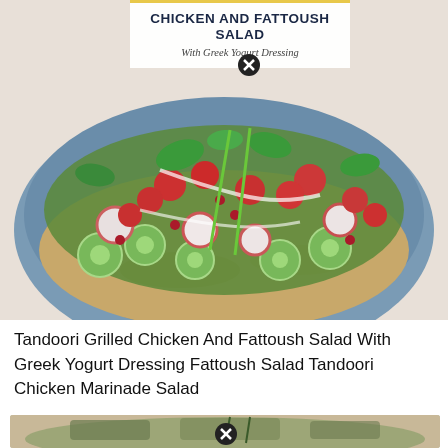CHICKEN AND FATTOUSH SALAD
With Greek Yogurt Dressing
[Figure (photo): A large blue bowl filled with colorful Fattoush salad: cherry tomatoes, sliced cucumbers, radishes, pomegranate seeds, fresh herbs (mint, basil), and toasted pita chips, drizzled with white dressing.]
Tandoori Grilled Chicken And Fattoush Salad With Greek Yogurt Dressing Fattoush Salad Tandoori Chicken Marinade Salad
[Figure (photo): Partially visible photo at bottom of page showing grilled tandoori chicken with herbs on a light background.]